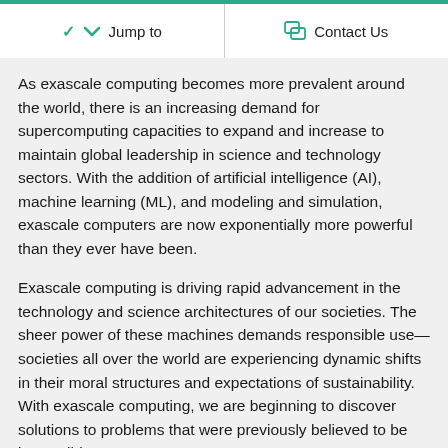Jump to   Contact Us
As exascale computing becomes more prevalent around the world, there is an increasing demand for supercomputing capacities to expand and increase to maintain global leadership in science and technology sectors. With the addition of artificial intelligence (AI), machine learning (ML), and modeling and simulation, exascale computers are now exponentially more powerful than they ever have been.
Exascale computing is driving rapid advancement in the technology and science architectures of our societies. The sheer power of these machines demands responsible use—societies all over the world are experiencing dynamic shifts in their moral structures and expectations of sustainability. With exascale computing, we are beginning to discover solutions to problems that were previously believed to be impossible.